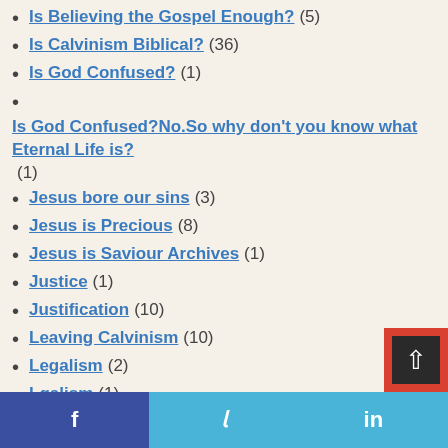Is Believing the Gospel Enough? (5)
Is Calvinism Biblical? (36)
Is God Confused? (1)
Is God Confused?No.So why don't you know what Eternal Life is? (1)
Jesus bore our sins (3)
Jesus is Precious (8)
Jesus is Saviour Archives (1)
Justice (1)
Justification (10)
Leaving Calvinism (10)
Legalism (2)
Lgalism (1)
Lighthouse Trails Research (1)
Lordship Salvation? (25)
Love Worth Finding Ministries (1)
Moriel Tv & Ministries (2)
Music (4)
Muslim (2)